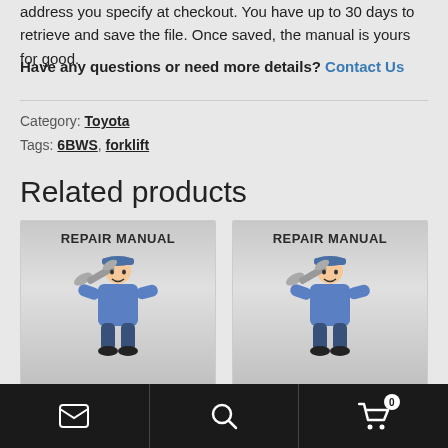address you specify at checkout. You have up to 30 days to retrieve and save the file. Once saved, the manual is yours for good.
Have any questions or need more details? Contact Us
Category: Toyota
Tags: 6BWS, forklift
Related products
[Figure (illustration): Repair Manual product card showing mechanic with wrench illustration]
[Figure (illustration): Repair Manual product card showing mechanic with wrench illustration]
Email icon | Search icon | Cart icon with badge 0